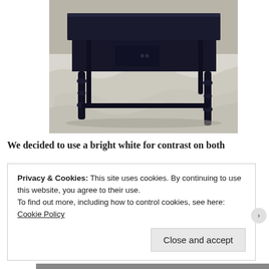[Figure (photo): A dark-painted wooden desk with turned legs and a drawer, sitting on a white plastic drop cloth on the floor. The desk is painted dark navy or black.]
We decided to use a bright white for contrast on both
Privacy & Cookies: This site uses cookies. By continuing to use this website, you agree to their use.
To find out more, including how to control cookies, see here:
Cookie Policy
Close and accept